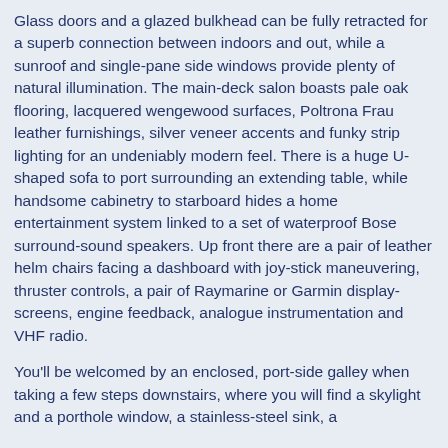Glass doors and a glazed bulkhead can be fully retracted for a superb connection between indoors and out, while a sunroof and single-pane side windows provide plenty of natural illumination. The main-deck salon boasts pale oak flooring, lacquered wengewood surfaces, Poltrona Frau leather furnishings, silver veneer accents and funky strip lighting for an undeniably modern feel. There is a huge U-shaped sofa to port surrounding an extending table, while handsome cabinetry to starboard hides a home entertainment system linked to a set of waterproof Bose surround-sound speakers. Up front there are a pair of leather helm chairs facing a dashboard with joy-stick maneuvering, thruster controls, a pair of Raymarine or Garmin display-screens, engine feedback, analogue instrumentation and VHF radio.
You'll be welcomed by an enclosed, port-side galley when taking a few steps downstairs, where you will find a skylight and a porthole window, a stainless-steel sink, a